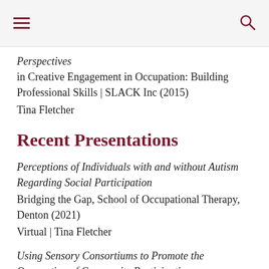[Navigation bar with hamburger menu and search icon]
Perspectives in Creative Engagement in Occupation: Building Professional Skills | SLACK Inc (2015)
Tina Fletcher
Recent Presentations
Perceptions of Individuals with and without Autism Regarding Social Participation
Bridging the Gap, School of Occupational Therapy, Denton (2021)
Virtual | Tina Fletcher
Using Sensory Consortiums to Promote the Occupation of Community Participation